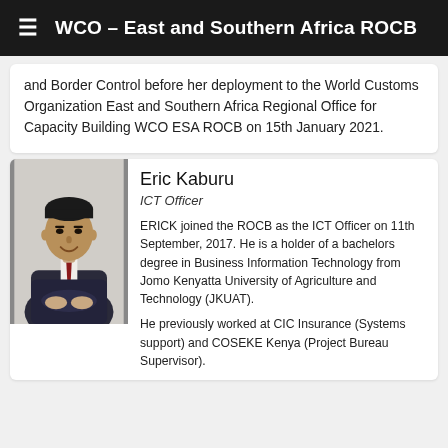WCO – East and Southern Africa ROCB
and Border Control before her deployment to the World Customs Organization East and Southern Africa Regional Office for Capacity Building WCO ESA ROCB on 15th January 2021.
[Figure (photo): Professional headshot of Eric Kaburu, a man in a dark suit with a red tie, smiling, seated and leaning forward with arms crossed.]
Eric Kaburu
ICT Officer
ERICK joined the ROCB as the ICT Officer on 11th September, 2017. He is a holder of a bachelors degree in Business Information Technology from Jomo Kenyatta University of Agriculture and Technology (JKUAT).
He previously worked at CIC Insurance (Systems support) and COSEKE Kenya (Project Bureau Supervisor).